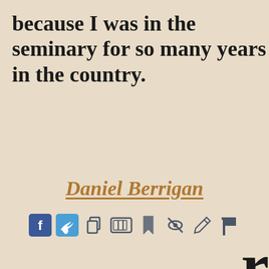because I was in the seminary for so many years in the country.
Daniel Berrigan
[Figure (other): Row of social sharing and action icons: Facebook, Twitter, Copy, Video, Bookmark, Hide, Edit/Pen, Flag]
This website uses cookies to ensure you get the best experience on our website.
Learn more
Got it!